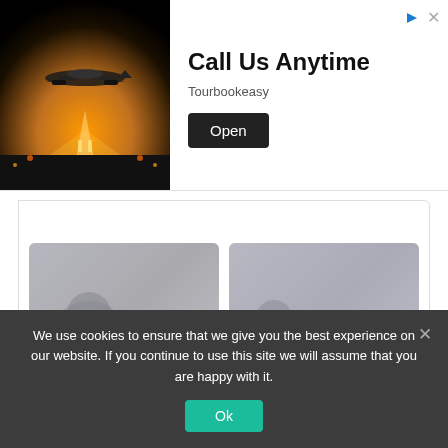[Figure (screenshot): Advertisement banner with airplane photo, 'Call Us Anytime' headline, Tourbookeasy branding, and Open button]
Call Us Anytime
Tourbookeasy
[Figure (screenshot): Content card: Billionaire Vince McMahon's...]
[Figure (screenshot): Content card: Billionaire Michael Jordan's Entire NB...]
We use cookies to ensure that we give you the best experience on our website. If you continue to use this site we will assume that you are happy with it.